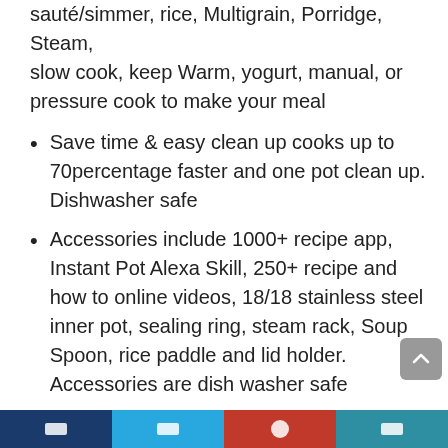sauté/simmer, rice, Multigrain, Porridge, Steam, slow cook, keep Warm, yogurt, manual, or pressure cook to make your meal
Save time & easy clean up cooks up to 70percentage faster and one pot clean up. Dishwasher safe
Accessories include 1000+ recipe app, Instant Pot Alexa Skill, 250+ recipe and how to online videos, 18/18 stainless steel inner pot, sealing ring, steam rack, Soup Spoon, rice paddle and lid holder. Accessories are dish washer safe
UL/ULC certified is the highest standard of testing and certification with 10 safety mechanisms for peace of mind
Power supply: 120V to 60Hz